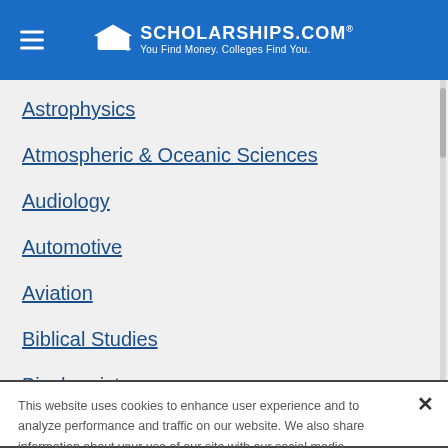SCHOLARSHIPS.COM — You Find Money. Colleges Find You.
Astrophysics
Atmospheric & Oceanic Sciences
Audiology
Automotive
Aviation
Biblical Studies
Biochemistry
This website uses cookies to enhance user experience and to analyze performance and traffic on our website. We also share information about your use of our site with our social media, advertising and analytics partners.